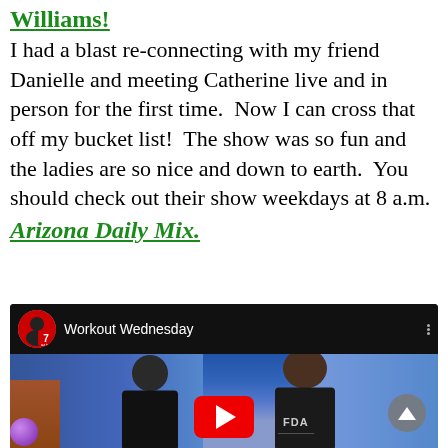Williams!
I had a blast re-connecting with my friend Danielle and meeting Catherine live and in person for the first time.  Now I can cross that off my bucket list!  The show was so fun and the ladies are so nice and down to earth.  You should check out their show weekdays at 8 a.m.
Arizona Daily Mix.
[Figure (screenshot): Embedded YouTube video thumbnail showing 'Workout Wednesday' on az tv channel 7. Shows two people on a TV set with blue curtains, a woman and a tall man wearing an FDA shirt. YouTube red play button visible in center. Gray scroll-up button on right.]